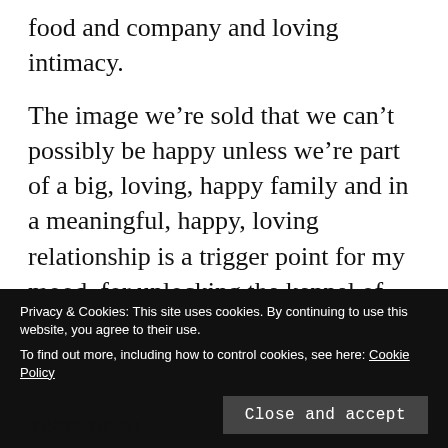food and company and loving intimacy.
The image we’re sold that we can’t possibly be happy unless we’re part of a big, loving, happy family and in a meaningful, happy, loving relationship is a trigger point for my mood, for unlocking the kennel of the black dog that can nip at my heels all too often.
This year, though, I’m happy to say that the
Privacy & Cookies: This site uses cookies. By continuing to use this website, you agree to their use.
To find out more, including how to control cookies, see here: Cookie Policy
Close and accept
years or so.